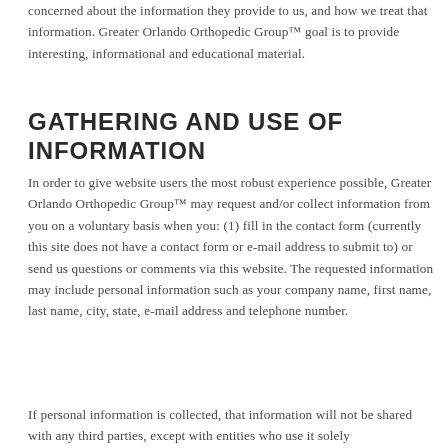concerned about the information they provide to us, and how we treat that information. Greater Orlando Orthopedic Group™ goal is to provide interesting, informational and educational material.
GATHERING AND USE OF INFORMATION
In order to give website users the most robust experience possible, Greater Orlando Orthopedic Group™ may request and/or collect information from you on a voluntary basis when you: (1) fill in the contact form (currently this site does not have a contact form or e-mail address to submit to) or send us questions or comments via this website. The requested information may include personal information such as your company name, first name, last name, city, state, e-mail address and telephone number.
If personal information is collected, that information will not be shared with any third parties, except with entities who use it solely